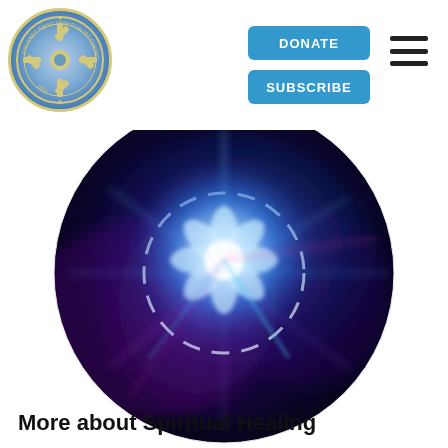[Figure (logo): Calgary First Spiritualist Church 1920 circular logo with cross and star motif on blue background]
[Figure (other): Two blue 'DONATE' and 'SUBSCRIBE' buttons with hamburger menu icon]
[Figure (illustration): Circular cosmic/spiritual energy image with blue and purple glowing fractal flower pattern on dark background]
More about Spiritual Healing